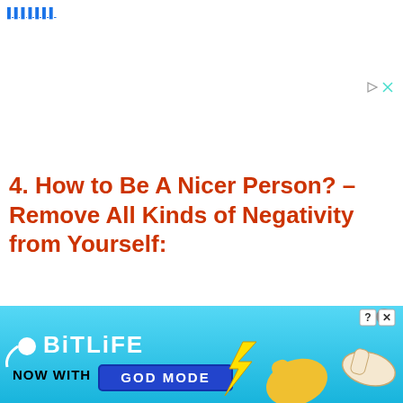4. How to Be A Nicer Person? – Remove All Kinds of Negativity from Yourself:
[Figure (other): Gray content placeholder box]
[Figure (other): BitLife advertisement banner with 'NOW WITH GOD MODE' text, cartoon hands, and lightning bolt graphic on blue background]